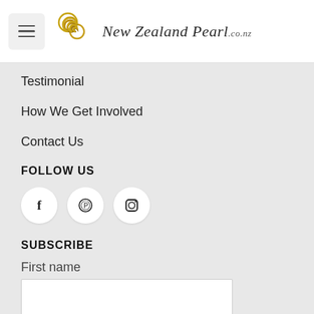[Figure (logo): New Zealand Pearl .co.nz logo with golden spiral/swirl icon and italic serif text]
Testimonial
How We Get Involved
Contact Us
FOLLOW US
[Figure (infographic): Three circular social media icon buttons: Facebook (f), Pinterest (p), Instagram (camera)]
SUBSCRIBE
First name
Email *